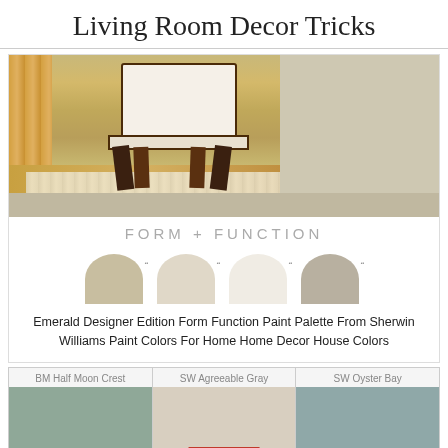Living Room Decor Tricks
[Figure (photo): Room scene with a dining chair on a woven rug, hardwood floor, curtains, and beige/gray wall]
FORM + FUNCTION
[Figure (illustration): Four paint color swatches shown as half-circles: warm tan, light cream, near-white, and gray-beige]
Emerald Designer Edition Form Function Paint Palette From Sherwin Williams Paint Colors For Home Home Decor House Colors
[Figure (illustration): Three paint color blocks labeled: BM Half Moon Crest (sage green), SW Agreeable Gray (warm beige), SW Oyster Bay (teal gray), with a red CLOSE button on the middle card]